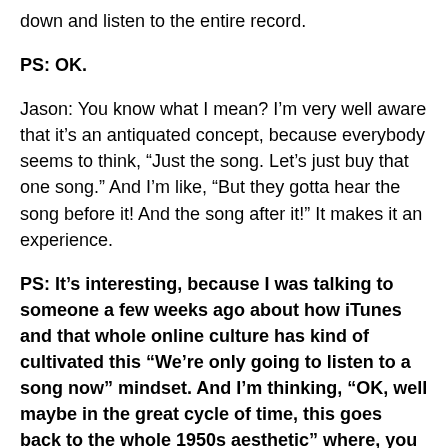down and listen to the entire record.
PS: OK.
Jason: You know what I mean? I’m very well aware that it’s an antiquated concept, because everybody seems to think, “Just the song. Let’s just buy that one song.” And I’m like, “But they gotta hear the song before it! And the song after it!” It makes it an experience.
PS: It’s interesting, because I was talking to someone a few weeks ago about how iTunes and that whole online culture has kind of cultivated this “We’re only going to listen to a song now” mindset. And I’m thinking, “OK, well maybe in the great cycle of time, this goes back to the whole 1950s aesthetic” where, you know, at the time, artists were just focusing on singles. The whole idea of albums was still didn’t...